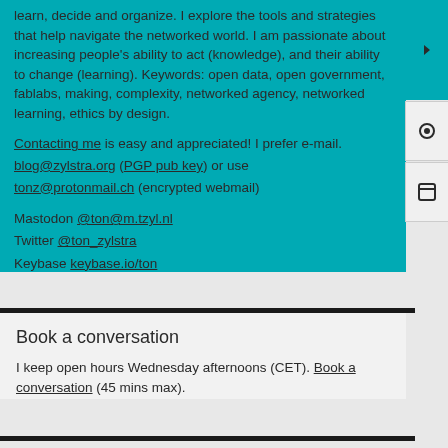learn, decide and organize. I explore the tools and strategies that help navigate the networked world. I am passionate about increasing people's ability to act (knowledge), and their ability to change (learning). Keywords: open data, open government, fablabs, making, complexity, networked agency, networked learning, ethics by design.
Contacting me is easy and appreciated! I prefer e-mail. blog@zylstra.org (PGP pub key) or use tonz@protonmail.ch (encrypted webmail)
Mastodon @ton@m.tzyl.nl Twitter @ton_zylstra Keybase keybase.io/ton
Proto WP sand box, Meso WP sand box
Book a conversation
I keep open hours Wednesday afternoons (CET). Book a conversation (45 mins max).